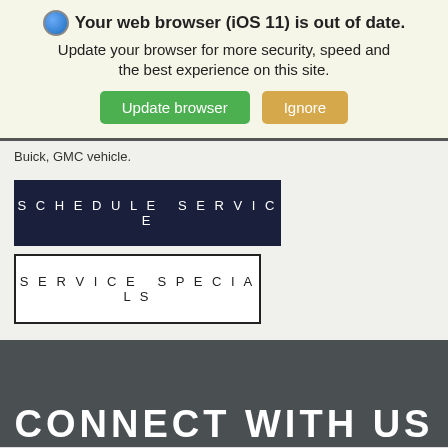[Figure (screenshot): Browser update notification banner with globe icon, bold title 'Your web browser (iOS 11) is out of date.', subtitle text, and two buttons: green 'Update browser' and tan 'Ignore']
Buick, GMC vehicle.
SCHEDULE SERVICE
SERVICE SPECIALS
CONNECT WITH US
This site uses cookies.